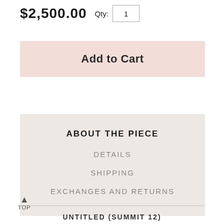$2,500.00  Qty: 1
Add to Cart
ABOUT THE PIECE
DETAILS
SHIPPING
EXCHANGES AND RETURNS
TOP
UNTITLED (SUMMIT 12)